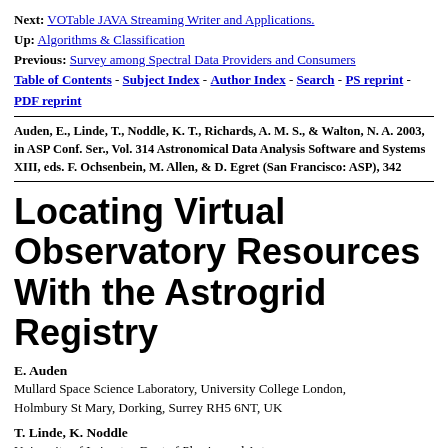Next: VOTable JAVA Streaming Writer and Applications.
Up: Algorithms & Classification
Previous: Survey among Spectral Data Providers and Consumers
Table of Contents - Subject Index - Author Index - Search - PS reprint - PDF reprint
Auden, E., Linde, T., Noddle, K. T., Richards, A. M. S., & Walton, N. A. 2003, in ASP Conf. Ser., Vol. 314 Astronomical Data Analysis Software and Systems XIII, eds. F. Ochsenbein, M. Allen, & D. Egret (San Francisco: ASP), 342
Locating Virtual Observatory Resources With the Astrogrid Registry
E. Auden
Mullard Space Science Laboratory, University College London, Holmbury St Mary, Dorking, Surrey RH5 6NT, UK
T. Linde, K. Noddle
University of Leicester, Dept of Physics and Astronomy, University Road, Leicester, LE1 7RH, UK